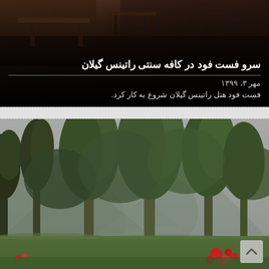[Figure (photo): Dark interior photograph of a traditional café, showing wooden furniture and dim lighting]
سرو فست فود در کافه سنتی راتینس گیلان
مهر ۳، ۱۳۹۹
فست فود هتل راتینس گیلان شروع به کار کرد.
[Figure (photo): Outdoor nature photograph showing green trees with mountains in the misty background, red flowers in the foreground, and a green lawn]